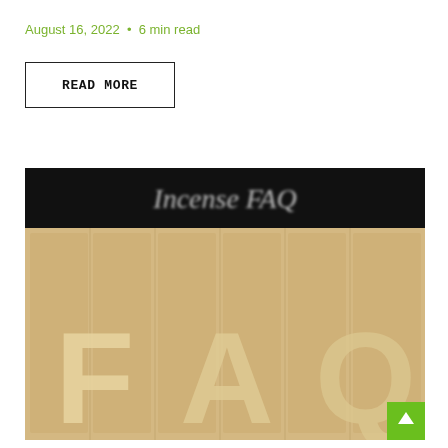August 16, 2022  •  6 min read
READ MORE
[Figure (photo): Image with black header bar reading 'Incense FAQ' in white italic text, below which is a blurred close-up photo of wooden letter tiles spelling 'FAQ' with a scroll-up button overlay in the bottom-right corner.]